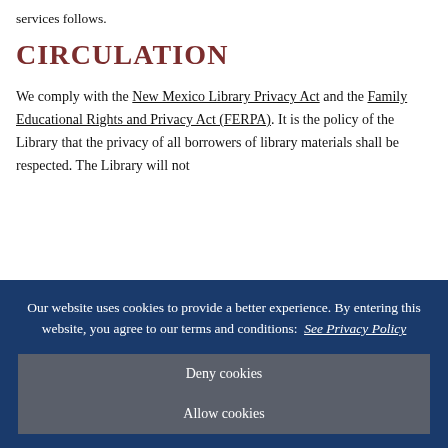services follows.
CIRCULATION
We comply with the New Mexico Library Privacy Act and the Family Educational Rights and Privacy Act (FERPA). It is the policy of the Library that the privacy of all borrowers of library materials shall be respected. The Library will not
Our website uses cookies to provide a better experience. By entering this website, you agree to our terms and conditions:  See Privacy Policy
Deny cookies
Allow cookies